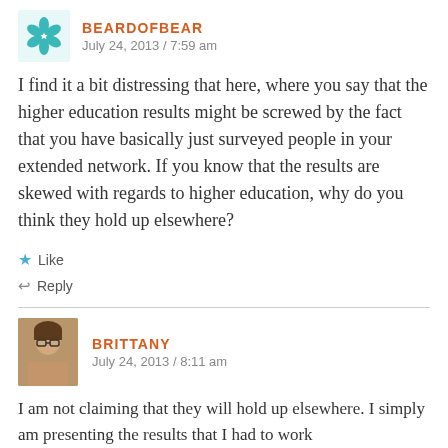BEARDOFBEAR — July 24, 2013 / 7:59 am
I find it a bit distressing that here, where you say that the higher education results might be screwed by the fact that you have basically just surveyed people in your extended network. If you know that the results are skewed with regards to higher education, why do you think they hold up elsewhere?
★ Like
↩ Reply
BRITTANY — July 24, 2013 / 8:11 am
I am not claiming that they will hold up elsewhere. I simply am presenting the results that I had to work